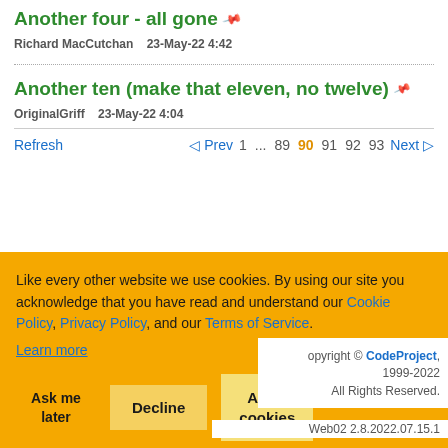Another four - all gone
Richard MacCutchan   23-May-22 4:42
Another ten (make that eleven, no twelve)
OriginalGriff   23-May-22 4:04
Refresh   ◁ Prev  1  ...  89  90  91  92  93  Next ▷
Like every other website we use cookies. By using our site you acknowledge that you have read and understand our Cookie Policy, Privacy Policy, and our Terms of Service. Learn more
Ask me later  Decline  Allow cookies
opyright © CodeProject, 1999-2022 All Rights Reserved. Web02 2.8.2022.07.15.1